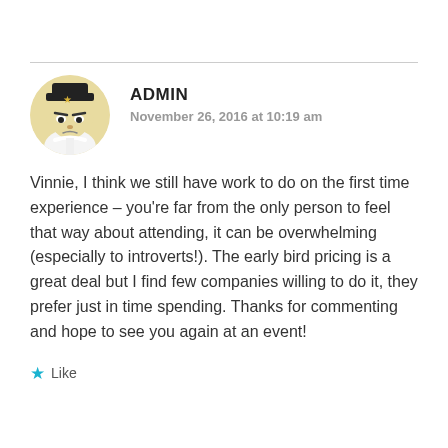ADMIN
November 26, 2016 at 10:19 am
Vinnie, I think we still have work to do on the first time experience – you're far from the only person to feel that way about attending, it can be overwhelming (especially to introverts!). The early bird pricing is a great deal but I find few companies willing to do it, they prefer just in time spending. Thanks for commenting and hope to see you again at an event!
Like